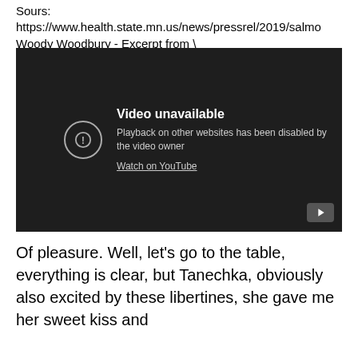Sours: https://www.health.state.mn.us/news/pressrel/2019/salmo
Woody Woodbury - Excerpt from \
[Figure (screenshot): Embedded YouTube video player showing 'Video unavailable' message. Text reads: 'Playback on other websites has been disabled by the video owner. Watch on YouTube.' A circular exclamation icon is on the left, and a YouTube play button icon is in the bottom right corner.]
Of pleasure. Well, let's go to the table, everything is clear, but Tanechka, obviously also excited by these libertines, she gave me her sweet kiss and